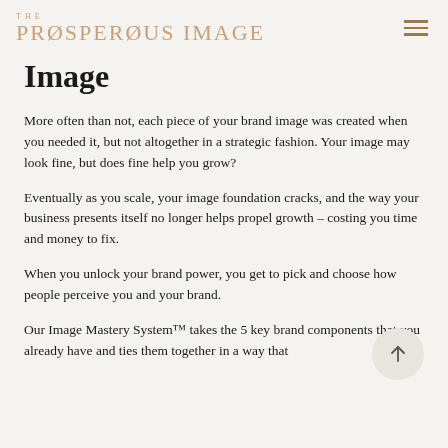THE PROSPEROUS IMAGE
Image
More often than not, each piece of your brand image was created when you needed it, but not altogether in a strategic fashion. Your image may look fine, but does fine help you grow?
Eventually as you scale, your image foundation cracks, and the way your business presents itself no longer helps propel growth – costing you time and money to fix.
When you unlock your brand power, you get to pick and choose how people perceive you and your brand.
Our Image Mastery System™ takes the 5 key brand components that you already have and ties them together in a way that amplifies your results and business reputation.